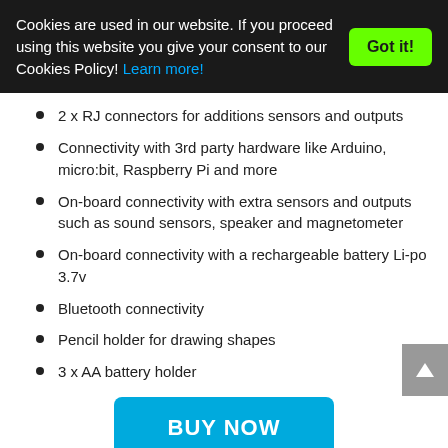Cookies are used in our website. If you proceed using this website you give your consent to our Cookies Policy! Learn more!
2 x RJ connectors for additions sensors and outputs
Connectivity with 3rd party hardware like Arduino, micro:bit, Raspberry Pi and more
On-board connectivity with extra sensors and outputs such as sound sensors, speaker and magnetometer
On-board connectivity with a rechargeable battery Li-po 3.7v
Bluetooth connectivity
Pencil holder for drawing shapes
3 x AA battery holder
BUY NOW